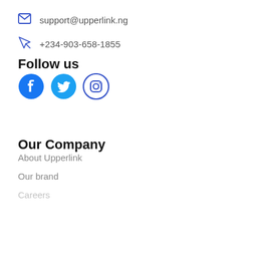support@upperlink.ng
+234-903-658-1855
Follow us
[Figure (illustration): Social media icons: Facebook, Twitter, Instagram in blue]
Our Company
About Upperlink
Our brand
Careers